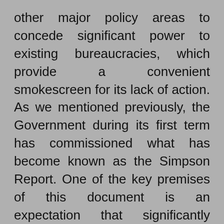other major policy areas to concede significant power to existing bureaucracies, which provide a convenient smokescreen for its lack of action. As we mentioned previously, the Government during its first term has commissioned what has become known as the Simpson Report. One of the key premises of this document is an expectation that significantly greater funding will be needed in coming years. Former minister Dr David Clark committed in principle to the implementation of the report in a press release on 16 June 2020, but his statement carefully omitted the report's fi nancial projections as a forecasted fundi...